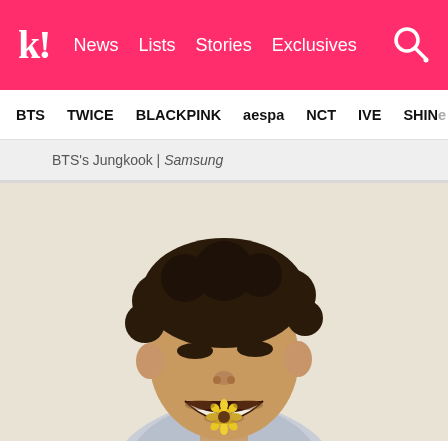k! News  Lists  Stories  Exclusives
BTS  TWICE  BLACKPINK  aespa  NCT  IVE  SHINee
BTS's Jungkook | Samsung
[Figure (photo): A young man with curly dark hair smiling widely with a small sunflower held between his teeth, wearing a floral shirt, light background.]